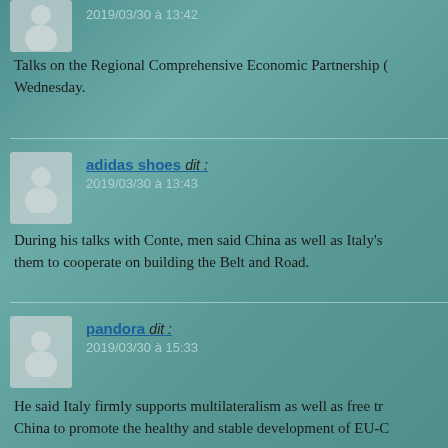2019/03/30 à 13:42
Talks on the Regional Comprehensive Economic Partnership ( Wednesday.
adidas shoes dit :
2019/03/30 à 13:43
During his talks with Conte, men said China as well as Italy's them to cooperate on building the Belt and Road.
pandora dit :
2019/03/30 à 15:33
He said Italy firmly supports multilateralism as well as free tr China to promote the healthy and stable development of EU-C